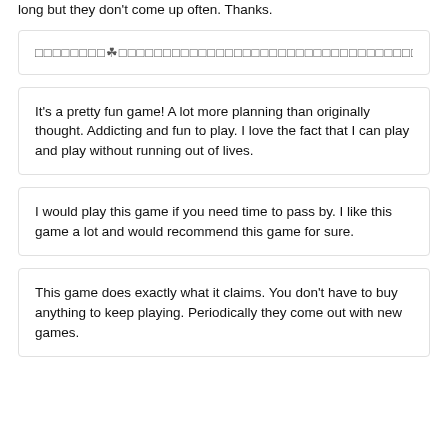long but they don't come up often. Thanks.
□□□□□□□□☘□□□□□□□□□□□□□□□□□□□□□□□□□□□□□□□□□□□□□□□
It's a pretty fun game! A lot more planning than originally thought. Addicting and fun to play. I love the fact that I can play and play without running out of lives.
I would play this game if you need time to pass by. I like this game a lot and would recommend this game for sure.
This game does exactly what it claims. You don't have to buy anything to keep playing. Periodically they come out with new games.